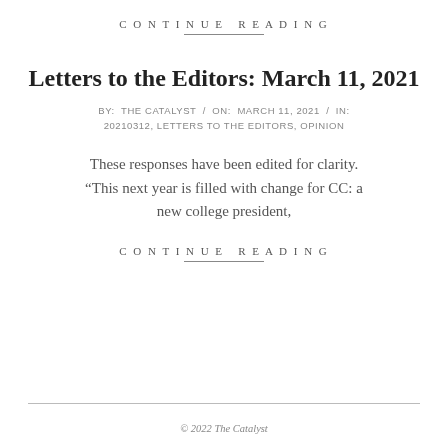CONTINUE READING
Letters to the Editors: March 11, 2021
BY:  THE CATALYST  /  ON:  MARCH 11, 2021  /  IN:  20210312, LETTERS TO THE EDITORS, OPINION
These responses have been edited for clarity. “This next year is filled with change for CC: a new college president,
CONTINUE READING
© 2022 The Catalyst